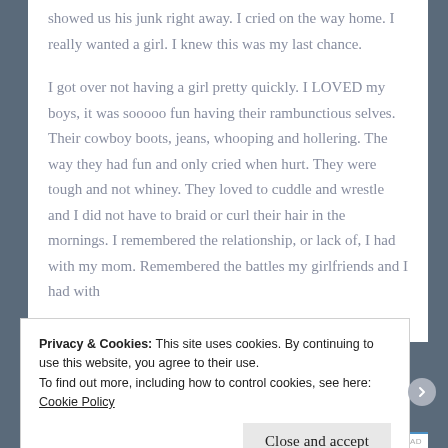showed us his junk right away. I cried on the way home. I really wanted a girl. I knew this was my last chance.

I got over not having a girl pretty quickly. I LOVED my boys, it was sooooo fun having their rambunctious selves. Their cowboy boots, jeans, whooping and hollering. The way they had fun and only cried when hurt. They were tough and not whiney. They loved to cuddle and wrestle and I did not have to braid or curl their hair in the mornings. I remembered the relationship, or lack of, I had with my mom. Remembered the battles my girlfriends and I had with
Privacy & Cookies: This site uses cookies. By continuing to use this website, you agree to their use.
To find out more, including how to control cookies, see here: Cookie Policy
Close and accept